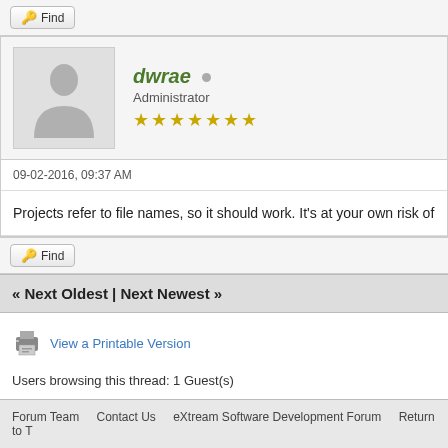Find
dwrae  Administrator ★★★★★★★
09-02-2016, 09:37 AM
Projects refer to file names, so it should work. It's at your own risk of
Find
« Next Oldest | Next Newest »
View a Printable Version
Users browsing this thread: 1 Guest(s)
Forum Team    Contact Us    eXtream Software Development Forum    Return to T